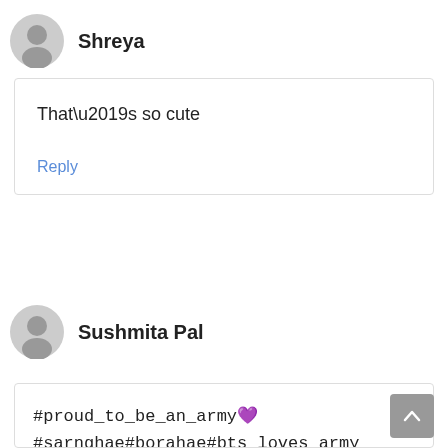Shreya
That’s so cute
Reply
Sushmita Pal
#proud_to_be_an_army💜
#sarnghae#borahae#bts loves army